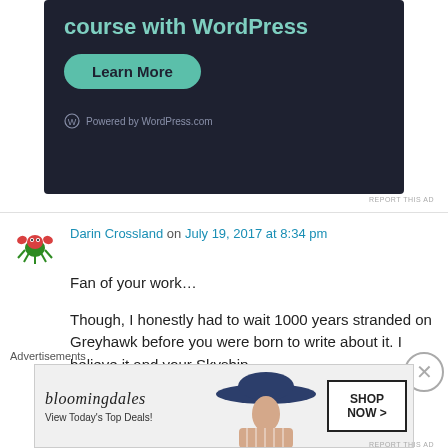[Figure (screenshot): WordPress.com advertisement with dark background showing 'course with WordPress' text, a teal 'Learn More' button, and 'Powered by WordPress.com' at the bottom]
REPORT THIS AD
Darin Crossland on July 19, 2017 at 8:34 pm
Fan of your work…
Though, I honestly had to wait 1000 years stranded on Greyhawk before you were born to write about it. I believe it and your Skyship
Advertisements
[Figure (screenshot): Bloomingdale's advertisement showing logo, 'View Today's Top Deals!' text, a woman in a hat, and 'SHOP NOW >' button]